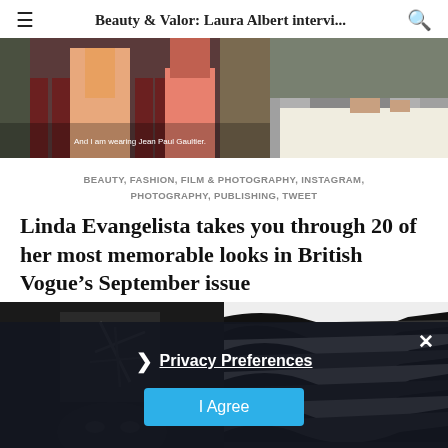Beauty & Valor: Laura Albert intervi...
[Figure (photo): Top banner image showing fashion figures in colorful outfits on the left and a person in a grey suit on the right, with caption text 'And I am wearing Jean Paul Gaultier.']
BEAUTY, FASHION, FILM & PHOTOGRAPHY, INSTAGRAM, PHOTOGRAPHY, PUBLISHING, TWEET
Linda Evangelista takes you through 20 of her most memorable looks in British Vogue's September issue
[Figure (photo): Two side-by-side black and white artistic photos. Left: dark moody portrait with abstract graffiti-like symbol. Right: high contrast black and white wavy/striped fabric or surface pattern.]
Privacy Preferences
I Agree